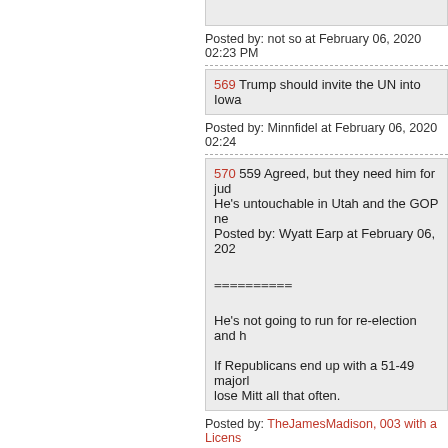Posted by: not so at February 06, 2020 02:23 PM
569 Trump should invite the UN into Iowa
Posted by: Minnfidel at February 06, 2020 02:24
570 559 Agreed, but they need him for jud He's untouchable in Utah and the GOP ne Posted by: Wyatt Earp at February 06, 202
==========
He's not going to run for re-election and h
If Republicans end up with a 51-49 majorl lose Mitt all that often.
Posted by: TheJamesMadison, 003 with a Licens
571 Kennedy is way hotter than Cupp.
Posted by: Chris W at February 06, 2020 02:24 P